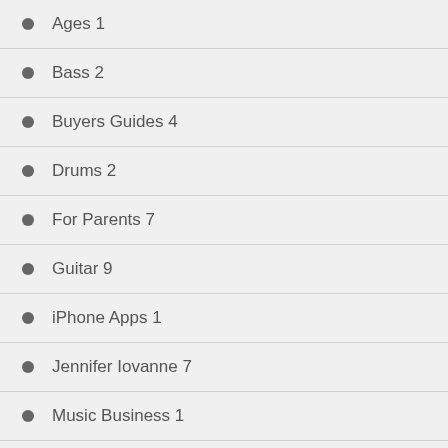Ages 1
Bass 2
Buyers Guides 4
Drums 2
For Parents 7
Guitar 9
iPhone Apps 1
Jennifer Iovanne 7
Music Business 1
performing 1
Piano 3